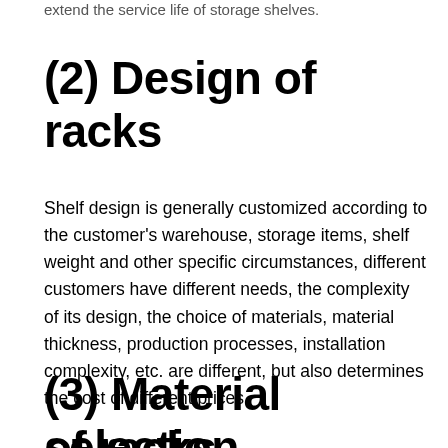extend the service life of storage shelves.
(2) Design of racks
Shelf design is generally customized according to the customer's warehouse, storage items, shelf weight and other specific circumstances, different customers have different needs, the complexity of its design, the choice of materials, material thickness, production processes, installation complexity, etc. are different, but also determines the cost of different prices.
(3) Material selection of racks